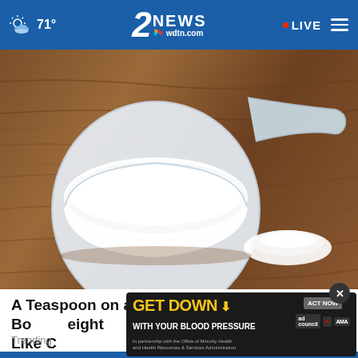71° | 2 NEWS wdtn.com | LIVE
[Figure (photo): A plastic measuring scoop filled with white powder (protein powder or supplement) on a wooden surface, with a small pile of white powder beside it.]
A Teaspoon on an Empty Stomach Drops Body Weight Like Crazy
Trending
[Figure (infographic): Advertisement banner: GET DOWN WITH YOUR BLOOD PRESSURE - In partnership with the Office of Minority Health and Health Resources & Services Administration. ACT NOW button. Ad Council, American Heart Association, and AMA logos.]